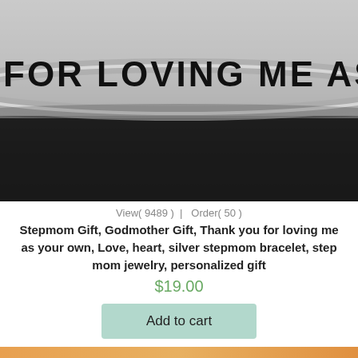[Figure (photo): Close-up black and white photo of a metal cuff bracelet engraved with the text 'FOR LOVING ME AS YOU' in bold block letters]
View( 9489 )  |  Order( 50 )
Stepmom Gift, Godmother Gift, Thank you for loving me as your own, Love, heart, silver stepmom bracelet, step mom jewelry, personalized gift
$19.00
Add to cart